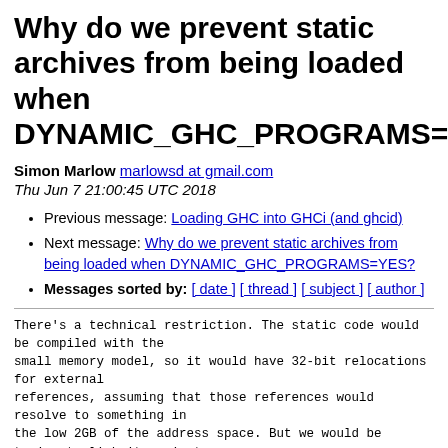Why do we prevent static archives from being loaded when DYNAMIC_GHC_PROGRAMS=
Simon Marlow marlowsd at gmail.com
Thu Jun 7 21:00:45 UTC 2018
Previous message: Loading GHC into GHCi (and ghcid)
Next message: Why do we prevent static archives from being loaded when DYNAMIC_GHC_PROGRAMS=YES?
Messages sorted by: [ date ] [ thread ] [ subject ] [ author ]
There's a technical restriction. The static code would be compiled with the
small memory model, so it would have 32-bit relocations for external
references, assuming that those references would resolve to something in
the low 2GB of the address space. But we would be
trying to link it against